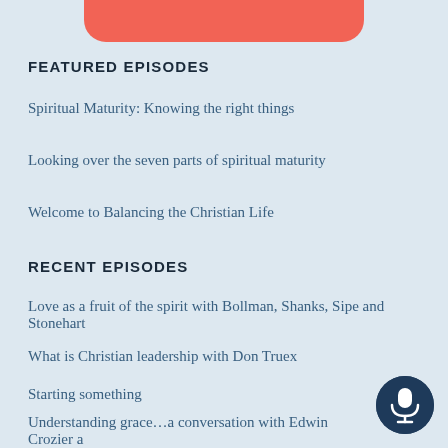[Figure (other): Red/salmon rounded rectangle banner at top center]
FEATURED EPISODES
Spiritual Maturity: Knowing the right things
Looking over the seven parts of spiritual maturity
Welcome to Balancing the Christian Life
RECENT EPISODES
Love as a fruit of the spirit with Bollman, Shanks, Sipe and Stonehart
What is Christian leadership with Don Truex
Starting something
Understanding grace…a conversation with Edwin Crozier and Hudgins